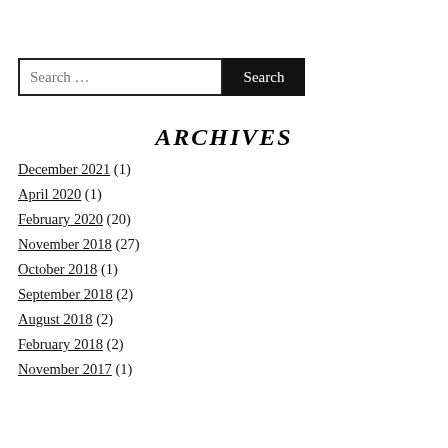Search …
ARCHIVES
December 2021 (1)
April 2020 (1)
February 2020 (20)
November 2018 (27)
October 2018 (1)
September 2018 (2)
August 2018 (2)
February 2018 (2)
November 2017 (1)